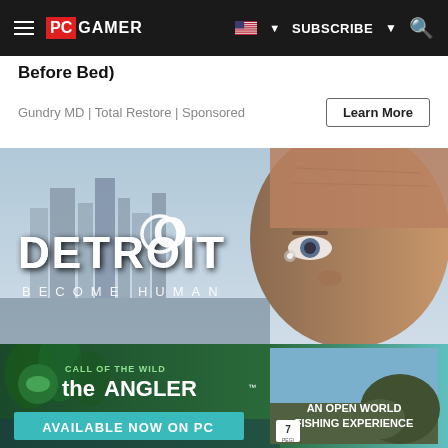PC GAMER | SUBSCRIBE | Search
Before Bed)
Gundry MD | Total Restore | Sponsored
[Figure (screenshot): Detroit: Become Human game promotional image showing an elderly man's face close-up on the right and the city skyline on the left with the game title 'DETROIT BECOME HUMAN' overlaid in large white text]
[Figure (screenshot): Call of the Wild: The Angler advertisement banner showing forest lake scenery with the game logo, tagline 'AN OPEN WORLD FISHING EXPERIENCE', 'AVAILABLE NOW ON PC' text, and a PEGI 7 rating badge]